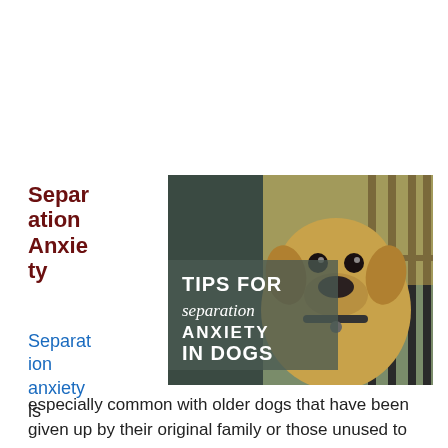Separation Anxiety
[Figure (photo): A yellow Labrador Retriever looking through iron fence bars outdoors, with overlay text reading 'TIPS FOR separation ANXIETY IN DOGS']
Separation anxiety is especially common with older dogs that have been given up by their original family or those unused to being left alone. There are a variety of solutions to separation anxiety including crating, leaving the television or radio on when leaving the house, pheromone sprays and collars and medication, CBD oil